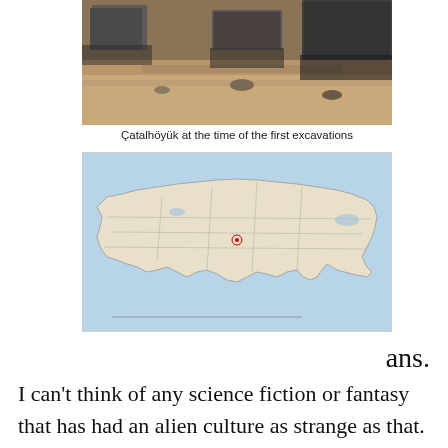[Figure (photo): Archaeological excavation site at Çatalhöyük showing large stone blocks and dry earth]
Çatalhöyük at the time of the first excavations
[Figure (map): Map of Turkey showing the location of Çatalhöyük marked with a small red symbol in central Anatolia]
ans.
I can't think of any science fiction or fantasy that has had an alien culture as strange as that.  (The closest is a much-praised short story called The Dance of the Changer and the Three,[35] which however relies on aliens doing